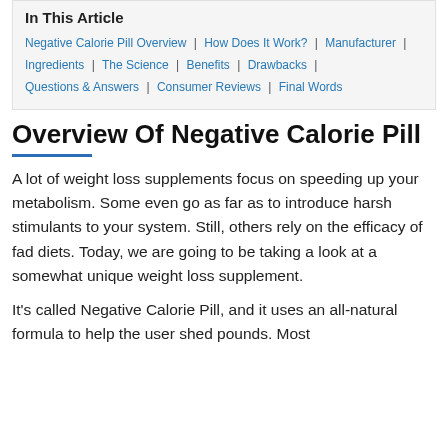In This Article
Negative Calorie Pill Overview | How Does It Work? | Manufacturer | Ingredients | The Science | Benefits | Drawbacks | Questions & Answers | Consumer Reviews | Final Words
Overview Of Negative Calorie Pill
A lot of weight loss supplements focus on speeding up your metabolism. Some even go as far as to introduce harsh stimulants to your system. Still, others rely on the efficacy of fad diets. Today, we are going to be taking a look at a somewhat unique weight loss supplement.
It's called Negative Calorie Pill, and it uses an all-natural formula to help the user shed pounds. Most